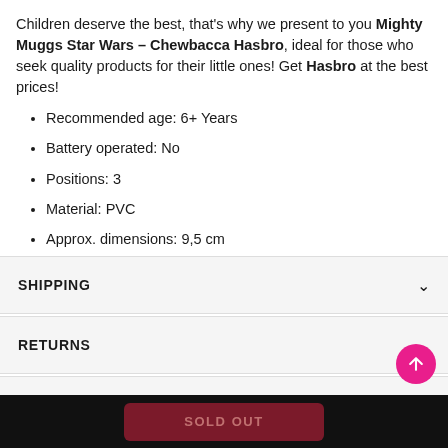Children deserve the best, that's why we present to you Mighty Muggs Star Wars – Chewbacca Hasbro, ideal for those who seek quality products for their little ones! Get Hasbro at the best prices!
Recommended age: 6+ Years
Battery operated: No
Positions: 3
Material: PVC
Approx. dimensions: 9,5 cm
SHIPPING
RETURNS
REVIEWS